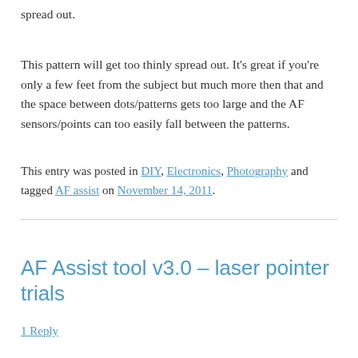spread out.
This pattern will get too thinly spread out. It’s great if you’re only a few feet from the subject but much more then that and the space between dots/patterns gets too large and the AF sensors/points can too easily fall between the patterns.
This entry was posted in DIY, Electronics, Photography and tagged AF assist on November 14, 2011.
AF Assist tool v3.0 – laser pointer trials
1 Reply
Did some more experimenting.